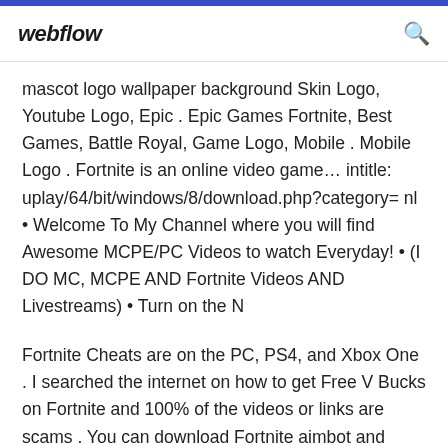webflow
mascot logo wallpaper background Skin Logo, Youtube Logo, Epic . Epic Games Fortnite, Best Games, Battle Royal, Game Logo, Mobile . Mobile Logo . Fortnite is an online video game... intitle: uplay/64/bit/windows/8/download.php?category= nl • Welcome To My Channel where you will find Awesome MCPE/PC Videos to watch Everyday! • (I DO MC, MCPE AND Fortnite Videos AND Livestreams) • Turn on the N
Fortnite Cheats are on the PC, PS4, and Xbox One . I searched the internet on how to get Free V Bucks on Fortnite and 100% of the videos or links are scams . You can download Fortnite aimbot and hacks free for a limited